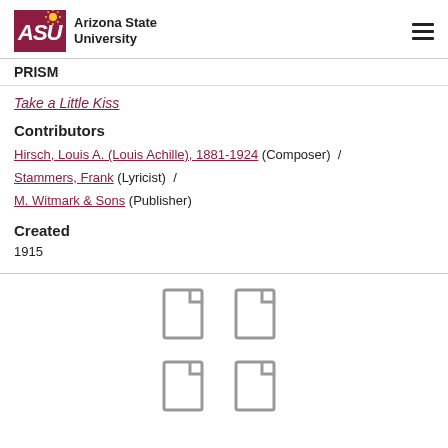Arizona State University — PRISM
Take a Little Kiss
Contributors
Hirsch, Louis A. (Louis Achille), 1881-1924 (Composer) / Stammers, Frank (Lyricist) / M. Witmark & Sons (Publisher)
Created
1915
[Figure (other): Four document page icons arranged in a 2x2 grid]